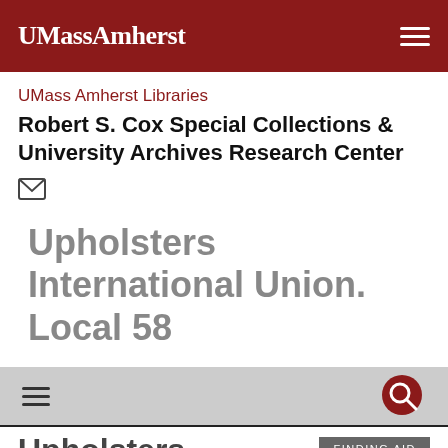UMassAmherst
UMass Amherst Libraries Robert S. Cox Special Collections & University Archives Research Center
[Figure (other): Email envelope icon]
Upholsters International Union. Local 58
[Figure (other): Navigation bar with hamburger menu icon and search icon]
Upholsters International
Finding aid